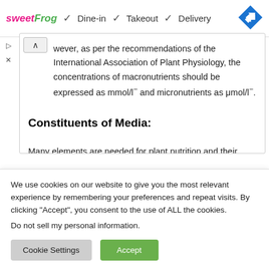[Figure (screenshot): Ad banner showing sweetFrog logo with Dine-in, Takeout, Delivery checkmarks and a blue navigation diamond icon]
wever, as per the recommendations of the International Association of Plant Physiology, the concentrations of macronutrients should be expressed as mmol/l⁻ and micronutrients as μmol/l⁻.
Constituents of Media:
Many elements are needed for plant nutrition and their
We use cookies on our website to give you the most relevant experience by remembering your preferences and repeat visits. By clicking “Accept”, you consent to the use of ALL the cookies.
Do not sell my personal information.